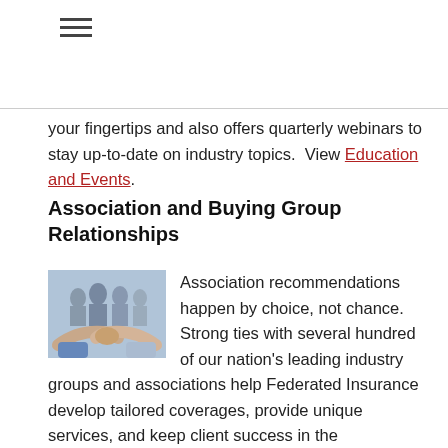[Figure (other): Hamburger menu icon (three horizontal lines)]
your fingertips and also offers quarterly webinars to stay up-to-date on industry topics.  View Education and Events.
Association and Buying Group Relationships
[Figure (photo): Group of business people shaking hands in the foreground with colleagues in the background]
Association recommendations happen by choice, not chance. Strong ties with several hundred of our nation's leading industry groups and associations help Federated Insurance develop tailored coverages, provide unique services, and keep client success in the forefront.  Learn More about Association Recommendations